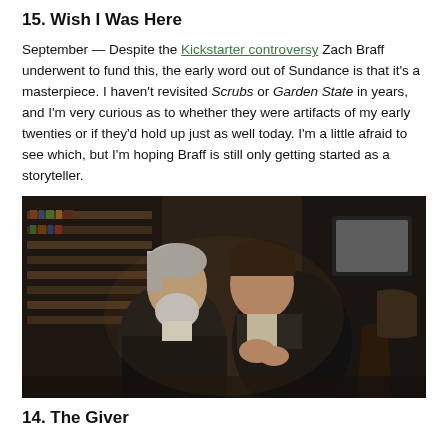15. Wish I Was Here
September — Despite the Kickstarter controversy Zach Braff underwent to fund this, the early word out of Sundance is that it's a masterpiece. I haven't revisited Scrubs or Garden State in years, and I'm very curious as to whether they were artifacts of my early twenties or if they'd hold up just as well today. I'm a little afraid to see which, but I'm hoping Braff is still only getting started as a storyteller.
[Figure (photo): Two men in period costume leaning toward each other in a library setting — an older gray-haired bearded man on the left and a younger dark-haired man on the right, both appearing to be in conversation.]
14. The Giver